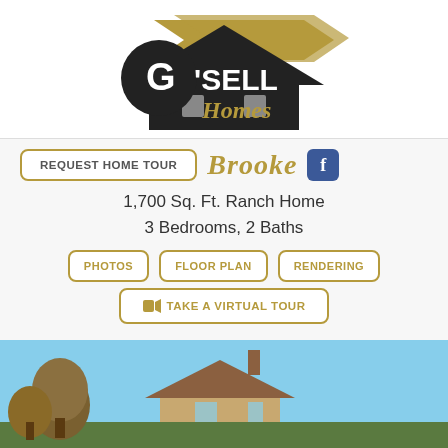[Figure (logo): G'Sell Homes logo with house silhouette and script text in black and gold]
REQUEST HOME TOUR
Brooke
1,700 Sq. Ft. Ranch Home
3 Bedrooms, 2 Baths
PHOTOS | FLOOR PLAN | RENDERING
🎬 TAKE A VIRTUAL TOUR
[Figure (photo): Exterior photo of a ranch-style home with trees and blue sky]